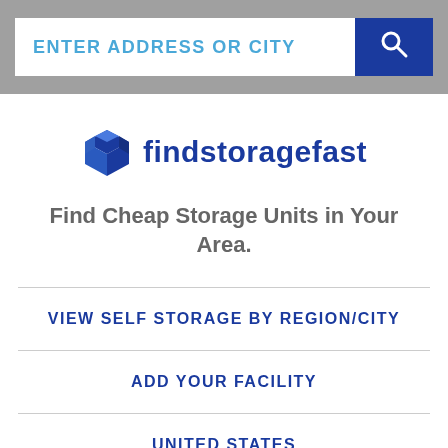ENTER ADDRESS OR CITY
[Figure (logo): findstoragefast logo with storage box icon and text]
Find Cheap Storage Units in Your Area.
VIEW SELF STORAGE BY REGION/CITY
ADD YOUR FACILITY
UNITED STATES
BLOG